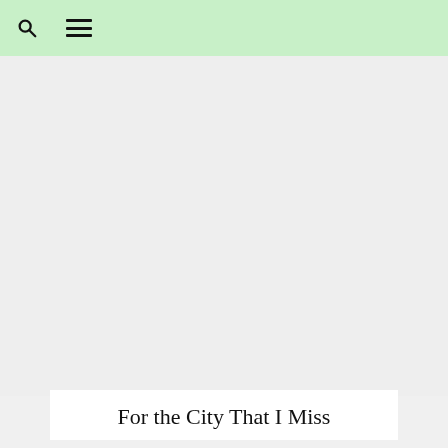[Figure (photo): Large light gray rectangular image placeholder area below the green navigation header]
For the City That I Miss